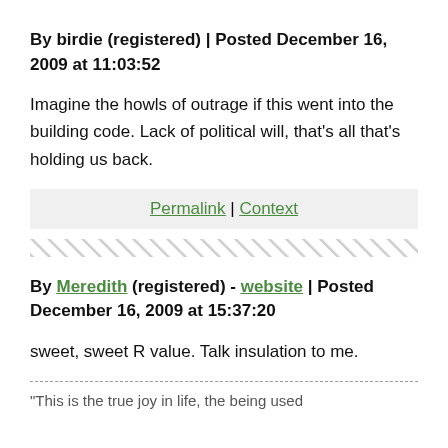By birdie (registered) | Posted December 16, 2009 at 11:03:52
Imagine the howls of outrage if this went into the building code. Lack of political will, that's all that's holding us back.
Permalink | Context
By Meredith (registered) - website | Posted December 16, 2009 at 15:37:20
sweet, sweet R value. Talk insulation to me.
"This is the true joy in life, the being used